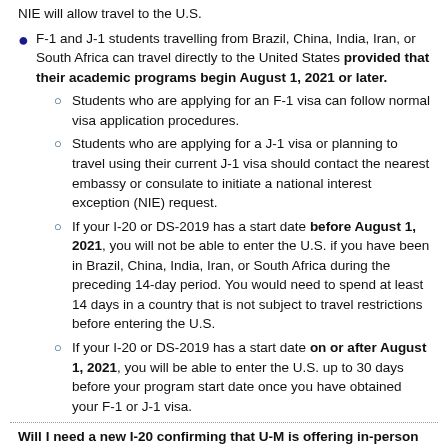NIE will allow travel to the U.S.
F-1 and J-1 students travelling from Brazil, China, India, Iran, or South Africa can travel directly to the United States provided that their academic programs begin August 1, 2021 or later.
Students who are applying for an F-1 visa can follow normal visa application procedures.
Students who are applying for a J-1 visa or planning to travel using their current J-1 visa should contact the nearest embassy or consulate to initiate a national interest exception (NIE) request.
If your I-20 or DS-2019 has a start date before August 1, 2021, you will not be able to enter the U.S. if you have been in Brazil, China, India, Iran, or South Africa during the preceding 14-day period. You would need to spend at least 14 days in a country that is not subject to travel restrictions before entering the U.S.
If your I-20 or DS-2019 has a start date on or after August 1, 2021, you will be able to enter the U.S. up to 30 days before your program start date once you have obtained your F-1 or J-1 visa.
Will I need a new I-20 confirming that U-M is offering in-person and